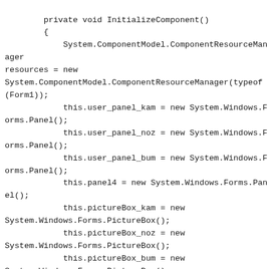private void InitializeComponent()
        {
            System.ComponentModel.ComponentResourceManager resources = new System.ComponentModel.ComponentResourceManager(typeof(Form1));
            this.user_panel_kam = new System.Windows.Forms.Panel();
            this.user_panel_noz = new System.Windows.Forms.Panel();
            this.user_panel_bum = new System.Windows.Forms.Panel();
            this.panel4 = new System.Windows.Forms.Panel();
            this.pictureBox_kam = new System.Windows.Forms.PictureBox();
            this.pictureBox_noz = new System.Windows.Forms.PictureBox();
            this.pictureBox_bum = new System.Windows.Forms.PictureBox();
            this.user_panel_kam.SuspendLayout();
            this.user_panel_noz.SuspendLayout();
            this.user_panel_bum.SuspendLayout();
            ((System.ComponentModel.ISupportInitialize)(this.pictureBox_kam)).BeginInit();
            ((System.ComponentModel.ISupportInitialize)(this.pictureBox_noz)).BeginInit();
            ((System.ComponentModel.ISupportInitialize)